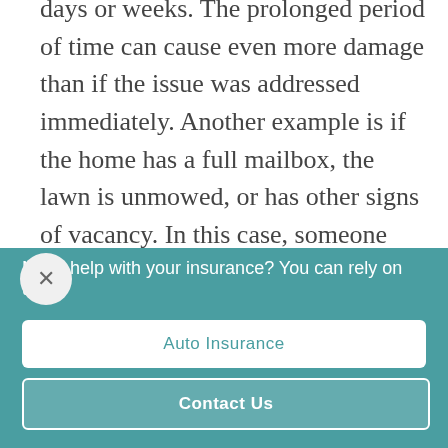days or weeks. The prolonged period of time can cause even more damage than if the issue was addressed immediately. Another example is if the home has a full mailbox, the lawn is unmowed, or has other signs of vacancy. In this case, someone could break in, cause damage, and steal appliances or furniture. Not only are the risks increased, but the level of
Need help with your insurance? You can rely on us.
Auto Insurance
Contact Us